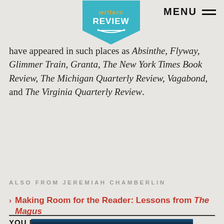Writers Review | MENU
have appeared in such places as Absinthe, Flyway, Glimmer Train, Granta, The New York Times Book Review, The Michigan Quarterly Review, Vagabond, and The Virginia Quarterly Review.
ALSO FROM JEREMIAH CHAMBERLIN
Making Room for the Reader: Lessons from The Magus
Who We Are Now: A Conversation with Colson Whitehead
Accepting Indeterminacy: Part II of an Interview with Jacob Paul
YOU MIGHT ALSO LIKE
[Figure (photo): Partial view of a dark blue/teal photographic image at the bottom of the page]